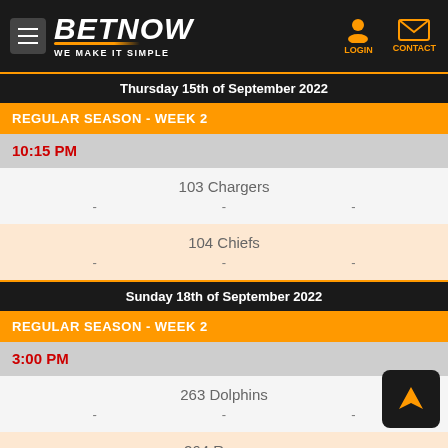[Figure (screenshot): BetNow website header with logo, hamburger menu, login and contact icons]
Thursday 15th of September 2022
REGULAR SEASON - WEEK 2
10:15 PM
103 Chargers
104 Chiefs
Sunday 18th of September 2022
REGULAR SEASON - WEEK 2
3:00 PM
263 Dolphins
264 Ravens